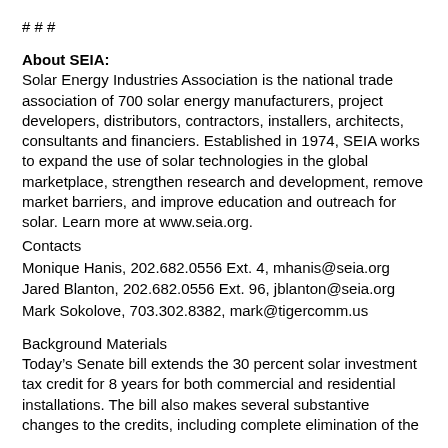# # #
About SEIA:
Solar Energy Industries Association is the national trade association of 700 solar energy manufacturers, project developers, distributors, contractors, installers, architects, consultants and financiers. Established in 1974, SEIA works to expand the use of solar technologies in the global marketplace, strengthen research and development, remove market barriers, and improve education and outreach for solar. Learn more at www.seia.org.
Contacts
Monique Hanis, 202.682.0556 Ext. 4, mhanis@seia.org
Jared Blanton, 202.682.0556 Ext. 96, jblanton@seia.org
Mark Sokolove, 703.302.8382, mark@tigercomm.us
Background Materials
Today’s Senate bill extends the 30 percent solar investment tax credit for 8 years for both commercial and residential installations. The bill also makes several substantive changes to the credits, including complete elimination of the